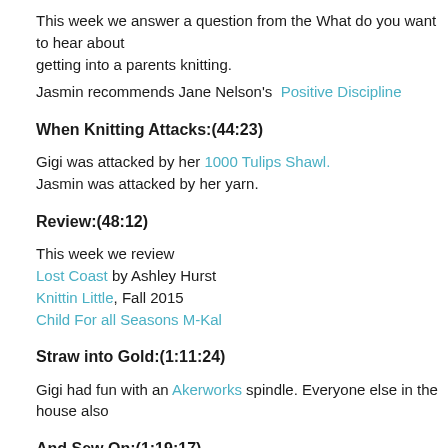This week we answer a question from the What do you want to hear about getting into a parents knitting.
Jasmin recommends Jane Nelson's  Positive Discipline
When Knitting Attacks:(44:23)
Gigi was attacked by her 1000 Tulips Shawl.
Jasmin was attacked by her yarn.
Review:(48:12)
This week we review
Lost Coast by Ashley Hurst
Knittin Little, Fall 2015
Child For all Seasons M-Kal
Straw into Gold:(1:11:24)
Gigi had fun with an Akerworks spindle. Everyone else in the house also
And Sew On:(1:19:17)
Gigi and a young friend were working on copying patterns out of Sew M